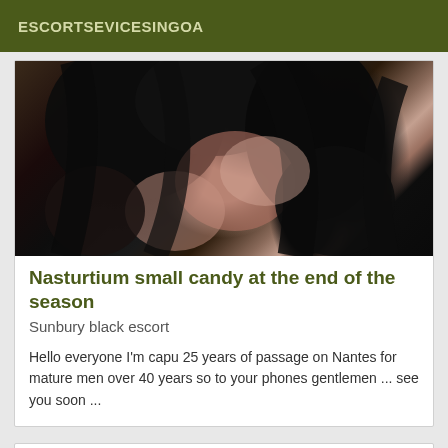ESCORTSEVICESINGOA
[Figure (photo): Close-up photo showing dark black hair, appears to be a person's head/hair from above]
Nasturtium small candy at the end of the season
Sunbury black escort
Hello everyone I'm capu 25 years of passage on Nantes for mature men over 40 years so to your phones gentlemen ... see you soon ...